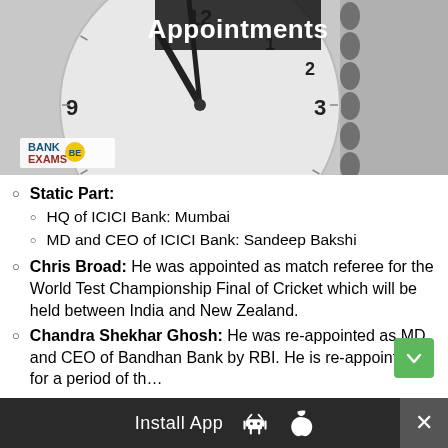[Figure (photo): A close-up photo of an analog clock showing approximately 11:58, with a spiral notebook in the background. The word 'Appointments' appears on a dark banner at the top. A 'Bank Exams' logo watermark is visible at the lower left.]
Static Part:
HQ of ICICI Bank: Mumbai
MD and CEO of ICICI Bank: Sandeep Bakshi
Chris Broad: He was appointed as match referee for the World Test Championship Final of Cricket which will be held between India and New Zealand.
Chandra Shekhar Ghosh: He was re-appointed as MD and CEO of Bandhan Bank by RBI. He is re-appointed for a period of th…
Install App